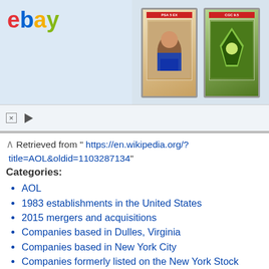[Figure (screenshot): eBay advertisement banner showing 'Vault your cards today and save' with trading card images]
Retrieved from " https://en.wikipedia.org/?title=AOL&oldid=1103287134"
Categories:
AOL
1983 establishments in the United States
2015 mergers and acquisitions
Companies based in Dulles, Virginia
Companies based in New York City
Companies formerly listed on the New York Stock Exchange
Companies in the PRISM network
Former Time Warner subsidiaries
Internet properties established in 1983
Internet properties established in 2009
Internet service providers of the United